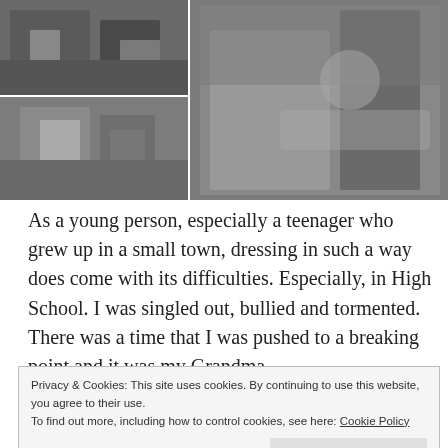[Figure (photo): Two black-and-white vintage photos on the left: top shows a person sitting at a café table, bottom shows a blonde woman in an elaborate outfit. One large black-and-white vintage photo on the right showing a woman reclining on a couch in a robe, talking on the phone.]
As a young person, especially a teenager who grew up in a small town, dressing in such a way does come with its difficulties. Especially, in High School. I was singled out, bullied and tormented. There was a time that I was pushed to a breaking point and it was my Grandma
Privacy & Cookies: This site uses cookies. By continuing to use this website, you agree to their use.
To find out more, including how to control cookies, see here: Cookie Policy
Close and accept
time to walk away and to continue to grow as an